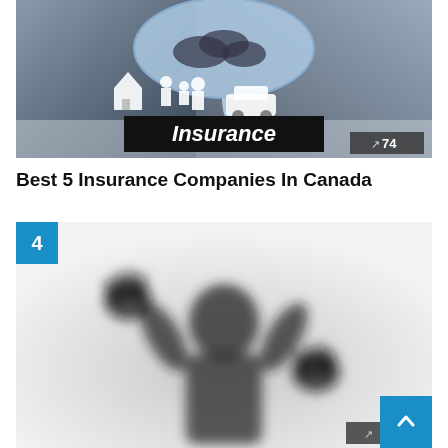[Figure (photo): Photo of hands holding a paper umbrella over paper cutout icons of a house, family, and car with a black 'Insurance' banner overlay and a trending badge showing 74]
Best 5 Insurance Companies In Canada
[Figure (photo): Silhouette of a person with raised hands pressed against frosted glass, creating an eerie blurred effect. Number badge '4' in blue overlay at top left.]